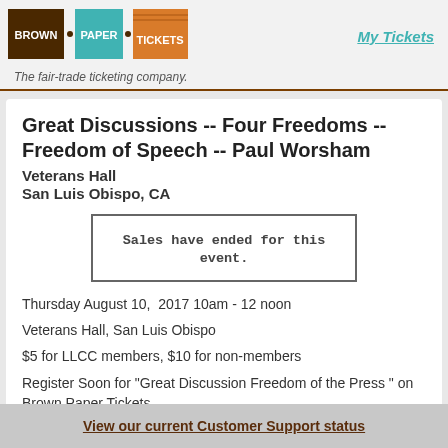[Figure (logo): Brown Paper Tickets logo with three colored blocks: brown (BROWN), teal (PAPER), orange (TICKETS)]
My Tickets
The fair-trade ticketing company.
Great Discussions -- Four Freedoms -- Freedom of Speech -- Paul Worsham
Veterans Hall
San Luis Obispo, CA
Sales have ended for this event.
Thursday August 10,  2017 10am - 12 noon
Veterans Hall, San Luis Obispo
$5 for LLCC members, $10 for non-members
Register Soon for "Great Discussion Freedom of the Press " on Brown Paper Tickets
View our current Customer Support status